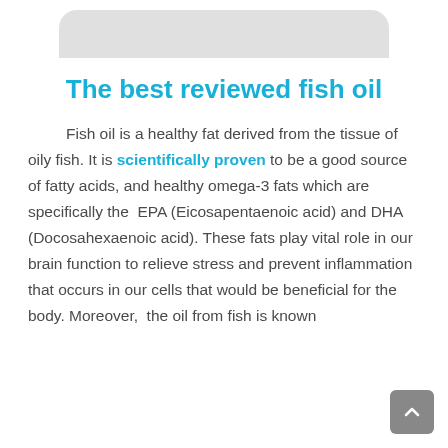[Figure (other): Top portion of a rounded rectangle image or card element, light gray, truncated at top of page]
The best reviewed fish oil
Fish oil is a healthy fat derived from the tissue of oily fish. It is scientifically proven to be a good source of fatty acids, and healthy omega-3 fats which are specifically the EPA (Eicosapentaenoic acid) and DHA (Docosahexaenoic acid). These fats play vital role in our brain function to relieve stress and prevent inflammation that occurs in our cells that would be beneficial for the body. Moreover, the oil from fish is known